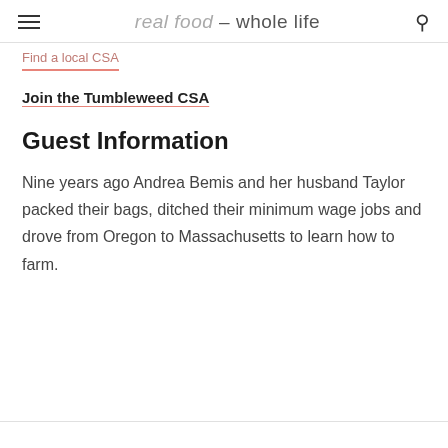real food - whole life
Find a local CSA
Join the Tumbleweed CSA
Guest Information
Nine years ago Andrea Bemis and her husband Taylor packed their bags, ditched their minimum wage jobs and drove from Oregon to Massachusetts to learn how to farm.